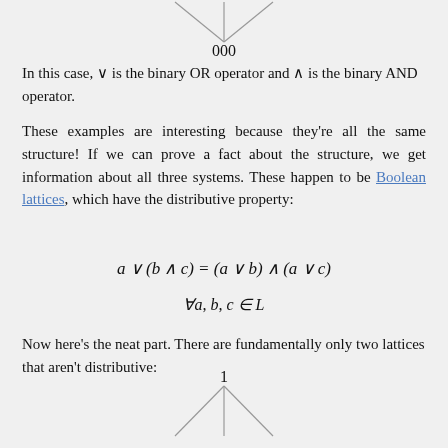[Figure (other): Top of a lattice diagram showing node labeled '000' with lines branching upward]
In this case, ∨ is the binary OR operator and ∧ is the binary AND operator.
These examples are interesting because they're all the same structure! If we can prove a fact about the structure, we get information about all three systems. These happen to be Boolean lattices, which have the distributive property:
Now here's the neat part. There are fundamentally only two lattices that aren't distributive:
[Figure (other): Bottom of a lattice diagram showing node labeled '1' with lines branching downward]